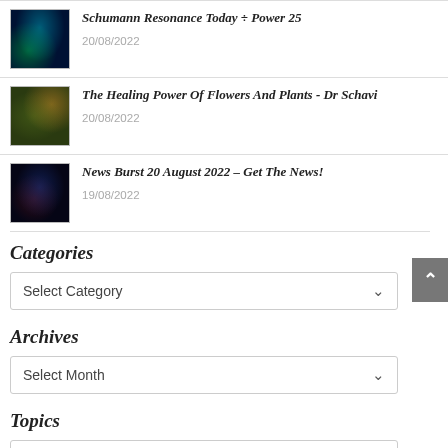Schumann Resonance Today ÷ Power 25 — 20/08/2022
The Healing Power Of Flowers And Plants - Dr Schavi — 20/08/2022
News Burst 20 August 2022 – Get The News! — 19/08/2022
Categories
Select Category
Archives
Select Month
Topics
Select Category